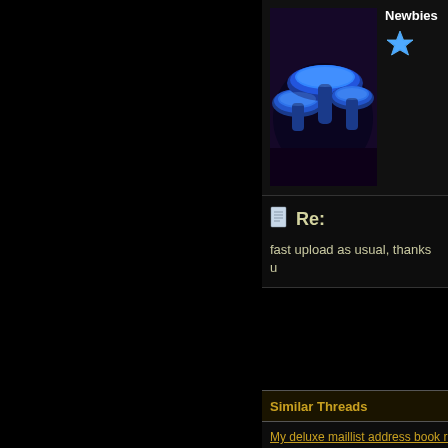[Figure (photo): Blue glowing mushrooms on dark purple background — user avatar image]
Newbies
[Figure (illustration): Blue star icon representing Newbies rank]
Re:
fast upload as usual, thanks u
Similar Threads
My deluxe maillist address book re
Adobe lightroom 2.2 multilanqua